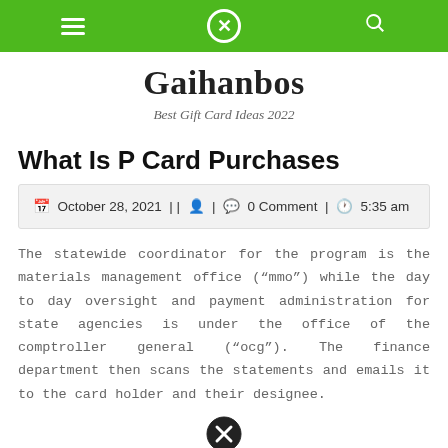Gaihanbos navigation bar
Gaihanbos
Best Gift Card Ideas 2022
What Is P Card Purchases
October 28, 2021 | | | 0 Comment | 5:35 am
The statewide coordinator for the program is the materials management office (“mmo”) while the day to day oversight and payment administration for state agencies is under the office of the comptroller general (“ocg”). The finance department then scans the statements and emails it to the card holder and their designee.